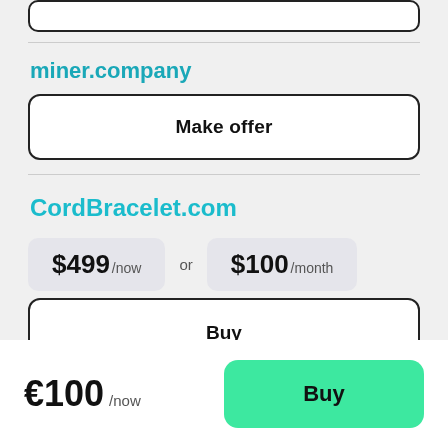miner.company
Make offer
CordBracelet.com
$499/now or $100/month
Buy
€100 /now
Buy